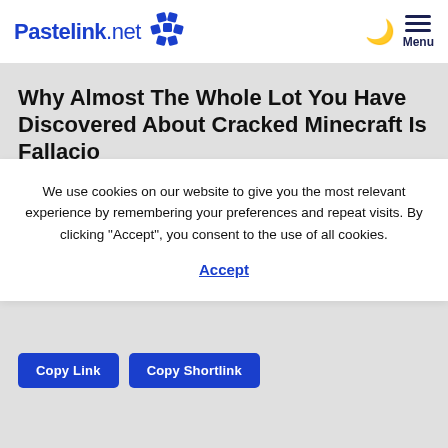Pastelink.net
Why Almost The Whole Lot You Have Discovered About Cracked Minecraft Is Fallacio
We use cookies on our website to give you the most relevant experience by remembering your preferences and repeat visits. By clicking “Accept”, you consent to the use of all cookies.
Accept
Copy Link   Copy Shortlink